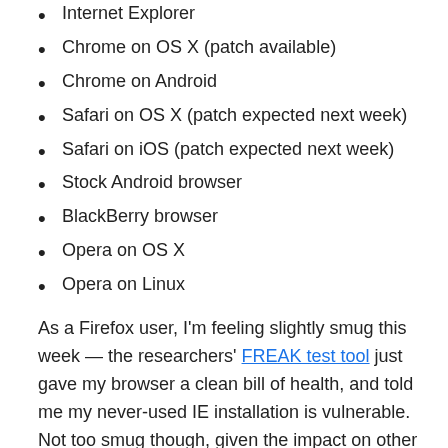Internet Explorer
Chrome on OS X (patch available)
Chrome on Android
Safari on OS X (patch expected next week)
Safari on iOS (patch expected next week)
Stock Android browser
BlackBerry browser
Opera on OS X
Opera on Linux
As a Firefox user, I'm feeling slightly smug this week — the researchers' FREAK test tool just gave my browser a clean bill of health, and told me my never-used IE installation is vulnerable. Not too smug though, given the impact on other Windows software.